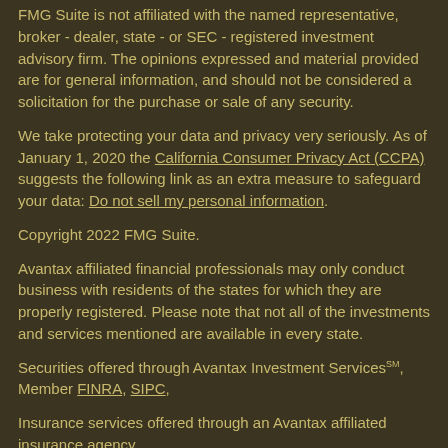FMG Suite is not affiliated with the named representative, broker - dealer, state - or SEC - registered investment advisory firm. The opinions expressed and material provided are for general information, and should not be considered a solicitation for the purchase or sale of any security.
We take protecting your data and privacy very seriously. As of January 1, 2020 the California Consumer Privacy Act (CCPA) suggests the following link as an extra measure to safeguard your data: Do not sell my personal information.
Copyright 2022 FMG Suite.
Avantax affiliated financial professionals may only conduct business with residents of the states for which they are properly registered. Please note that not all of the investments and services mentioned are available in every state.
Securities offered through Avantax Investment ServicesSM, Member FINRA, SIPC,
Insurance services offered through an Avantax affiliated insurance agency